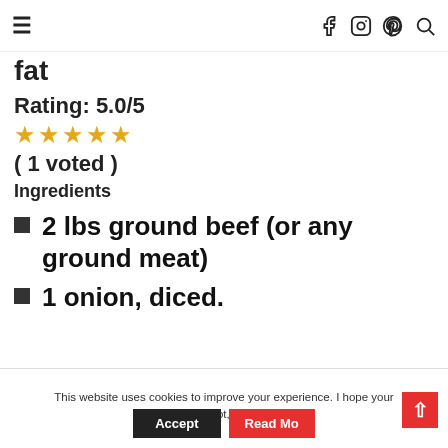≡  f  Instagram  Pinterest  Search
fat
Rating: 5.0/5
★★★★★
( 1 voted )
Ingredients
2 lbs ground beef (or any ground meat)
1 onion, diced.
This website uses cookies to improve your experience. I hope your OK with this! If not, you can opt out.
Accept
Read Mo